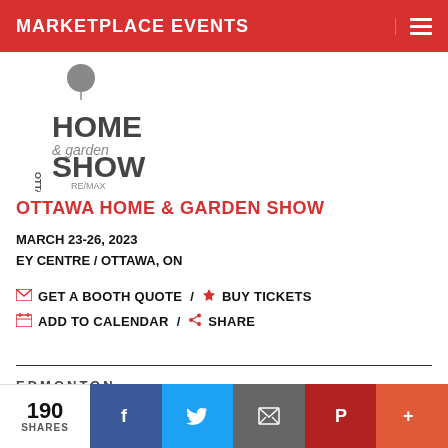MARKETPLACE EVENTS
[Figure (logo): Ottawa Home & Garden Show logo with RE/MAX branding, featuring OTTAWA text vertically, HOME in large text, & garden in script, SHOW in large text]
OTTAWA HOME & GARDEN SHOW
MARCH 23-26, 2023
EY CENTRE / OTTAWA, ON
GET A BOOTH QUOTE / BUY TICKETS
ADD TO CALENDAR / SHARE
[Figure (logo): Edmonton Home + Garden Show logo with EDMONTON in small caps, HOME in large text, +GARDEN below]
190 SHARES — social share bar with Facebook, Twitter, Email, Pinterest, More buttons